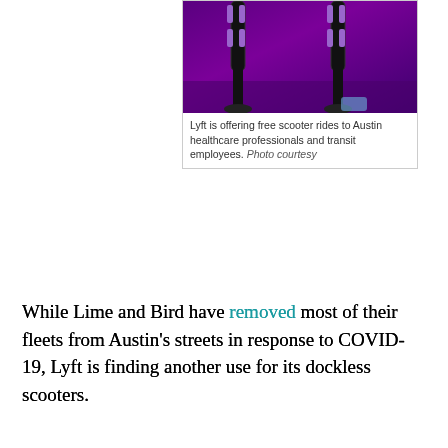[Figure (photo): Photo of Lyft electric scooters, partially visible, with purple/dark background. Shows handlebars and lower portion of scooters.]
Lyft is offering free scooter rides to Austin healthcare professionals and transit employees. Photo courtesy
While Lime and Bird have removed most of their fleets from Austin's streets in response to COVID-19, Lyft is finding another use for its dockless scooters.
On April 3, the ride-hailing company launched a new service for Austin healthcare workers, first responders, and transit workers. During the coronavirus pandemic, it's providing free dockless scooters trips to these coronavirus heroes.
“Lyft scooters can play a unique role in providing essential